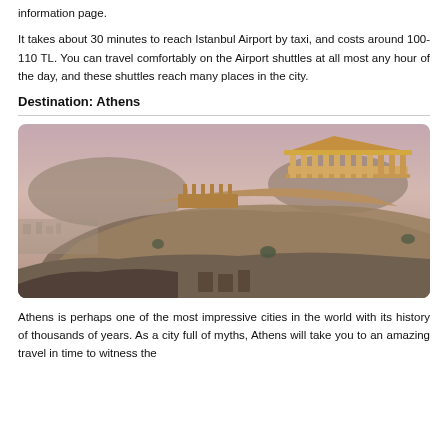information page.
It takes about 30 minutes to reach Istanbul Airport by taxi, and costs around 100-110 TL. You can travel comfortably on the Airport shuttles at all most any hour of the day, and these shuttles reach many places in the city.
Destination: Athens
[Figure (photo): Panoramic view of the Acropolis in Athens at sunset, showing the Parthenon on top of the rocky hill, with surrounding ancient structures and cityscape in the background.]
Athens is perhaps one of the most impressive cities in the world with its history of thousands of years. As a city full of myths, Athens will take you to an amazing travel in time to witness the